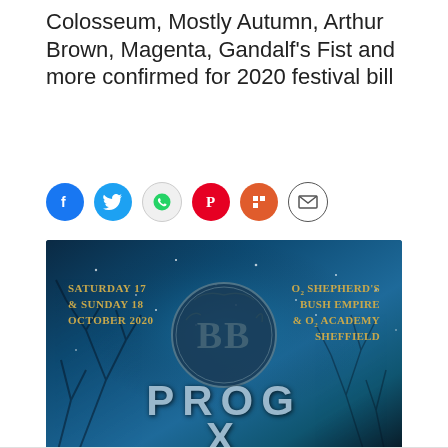Colosseum, Mostly Autumn, Arthur Brown, Magenta, Gandalf's Fist and more confirmed for 2020 festival bill
[Figure (other): Social media share icons row: Facebook (blue circle), Twitter (light blue circle), WhatsApp (grey circle), Pinterest (red circle), Flipboard (orange-red circle), Email (white circle with envelope)]
[Figure (photo): Prog X festival promotional banner with dark blue wintery background showing bare tree branches and snowflakes. Center has a circular stone/ice logo with letters BB. Left side text reads 'Saturday 17 & Sunday 18 October 2020'. Right side text reads 'O2 Shepherd's Bush Empire & O2 Academy Sheffield'. Bottom center reads 'PROG X' in large silver-blue letters.]